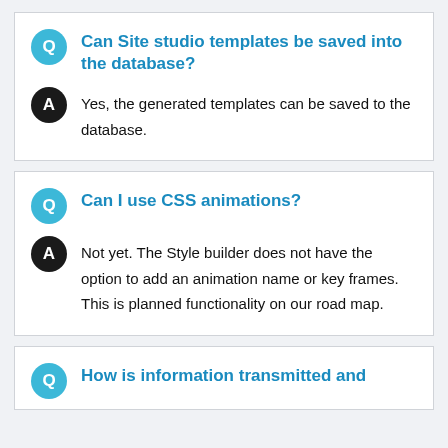Can Site studio templates be saved into the database?
Yes, the generated templates can be saved to the database.
Can I use CSS animations?
Not yet. The Style builder does not have the option to add an animation name or key frames. This is planned functionality on our road map.
How is information transmitted and